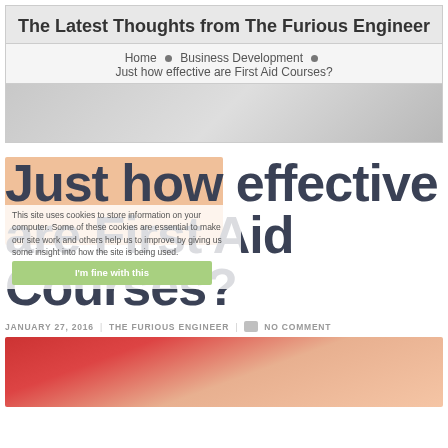The Latest Thoughts from The Furious Engineer
Home • Business Development • Just how effective are First Aid Courses?
Just how effective are First Aid Courses?
This site uses cookies to store information on your computer. Some of these cookies are essential to make our site work and others help us to improve by giving us some insight into how the site is being used.
JANUARY 27, 2016 | THE FURIOUS ENGINEER | NO COMMENT
[Figure (photo): Photo of a person in red clothing, appears to be a first aid demonstration]